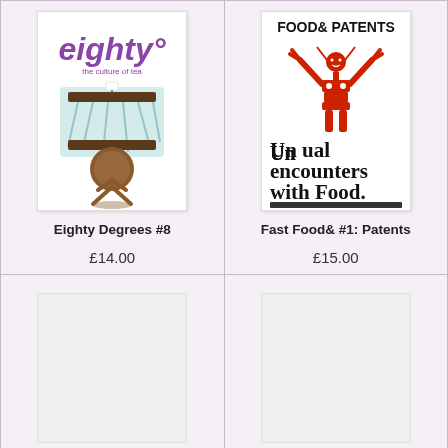[Figure (illustration): Book cover of Eighty Degrees #8 - tea culture magazine with purple 'eighty°' logo and tea bag illustration on light blue background]
Eighty Degrees #8
£14.00
[Figure (illustration): Book cover of Fast Food& #1: Patents - FOOD & PATENTS magazine with red figure illustration and text 'Unusual encounters with Food.']
Fast Food& #1: Patents
£15.00
[Figure (illustration): Blank/placeholder white book cover thumbnail]
[Figure (illustration): Blank/placeholder white book cover thumbnail]